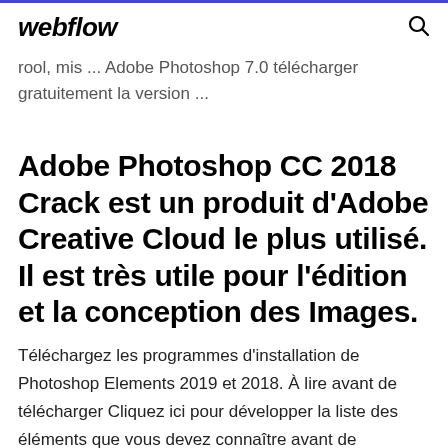webflow
rool, mis ... Adobe Photoshop 7.0 télécharger gratuitement la version ...
Adobe Photoshop CC 2018 Crack est un produit d'Adobe Creative Cloud le plus utilisé. Il est très utile pour l'édition et la conception des Images.
Téléchargez les programmes d'installation de Photoshop Elements 2019 et 2018. À lire avant de télécharger Cliquez ici pour développer la liste des éléments que vous devez connaître avant de télécharger Photoshop Elements